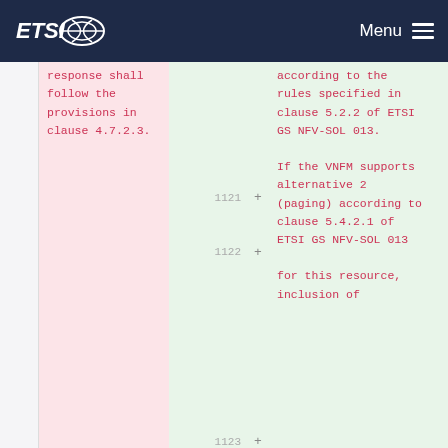ETSI Menu
response shall follow the provisions in clause 4.7.2.3.
1121 + according to the rules specified in clause 5.2.2 of ETSI GS NFV-SOL 013.
1122 + If the VNFM supports alternative 2 (paging) according to clause 5.4.2.1 of ETSI GS NFV-SOL 013
1123 + for this resource, inclusion of